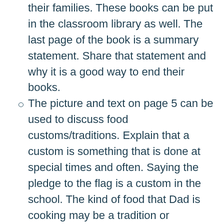their families. These books can be put in the classroom library as well. The last page of the book is a summary statement. Share that statement and why it is a good way to end their books.
The picture and text on page 5 can be used to discuss food customs/traditions. Explain that a custom is something that is done at special times and often. Saying the pledge to the flag is a custom in the school. The kind of food that Dad is cooking may be a tradition or